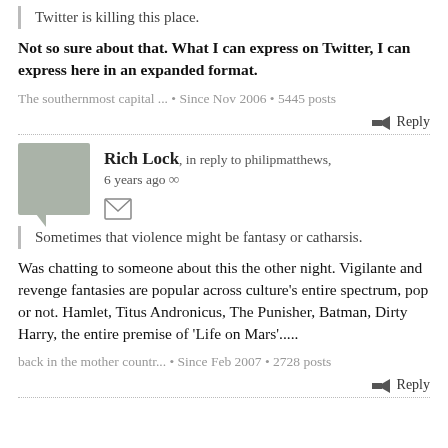Twitter is killing this place.
Not so sure about that. What I can express on Twitter, I can express here in an expanded format.
The southernmost capital ... • Since Nov 2006 • 5445 posts
Reply
Rich Lock, in reply to philipmatthews, 6 years ago ∞
Sometimes that violence might be fantasy or catharsis.
Was chatting to someone about this the other night. Vigilante and revenge fantasies are popular across culture's entire spectrum, pop or not. Hamlet, Titus Andronicus, The Punisher, Batman, Dirty Harry, the entire premise of 'Life on Mars'.....
back in the mother countr... • Since Feb 2007 • 2728 posts
Reply